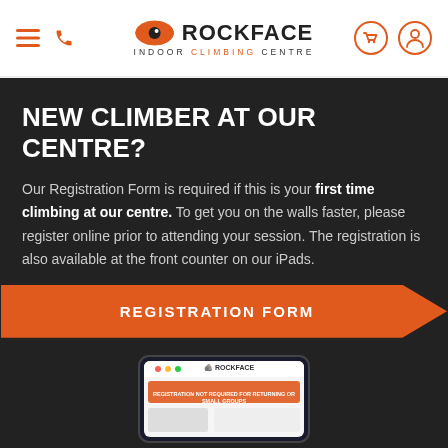Rockface Indoor Climbing Centre — Navigation header with logo, menu, phone, cart, and profile icons
NEW CLIMBER AT OUR CENTRE?
Our Registration Form is required if this is your first time climbing at our centre. To get you on the walls faster, please register online prior to attending your session. The registration is also available at the front counter on our iPads.
[Figure (other): Orange arrow-shaped button labelled REGISTRATION FORM]
[Figure (screenshot): Partial screenshot of a tablet/iPad showing the Rockface website registration page]